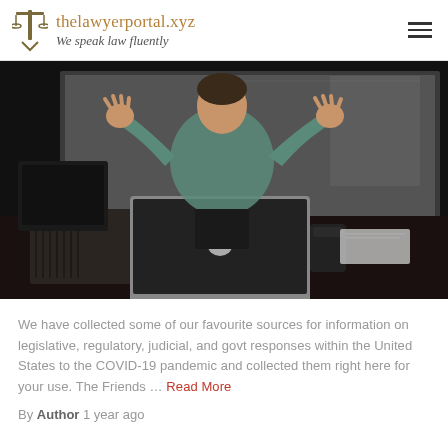thelawyerportal.xyz — We speak law fluently
[Figure (photo): A person standing behind a desk with an open MacBook laptop and a black coffee cup, gesturing with both hands raised in a classroom or lecture setting with whiteboards in the background.]
We have collected some of our favourite sources for information on legislative, regulatory, judicial, and govt responses within the United States to the COVID-19 pandemic and collected them right here for your use. The Friends … Read More
By Author 1 year ago